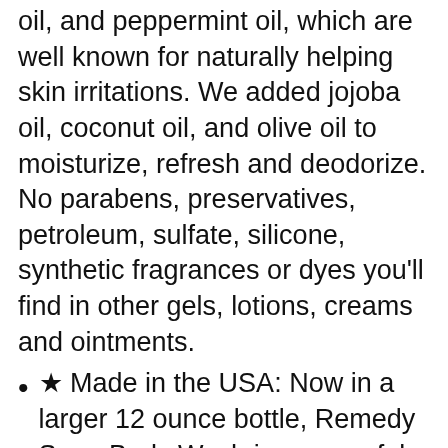oil, and peppermint oil, which are well known for naturally helping skin irritations. We added jojoba oil, coconut oil, and olive oil to moisturize, refresh and deodorize. No parabens, preservatives, petroleum, sulfate, silicone, synthetic fragrances or dyes you'll find in other gels, lotions, creams and ointments.
★ Made in the USA: Now in a larger 12 ounce bottle, Remedy Soap Body Wash is a powerful odor eliminator that helps with acne as well as other skin irritations including athlete's foot, candida, ringworm, jock itch, foot odor, and toenail issues